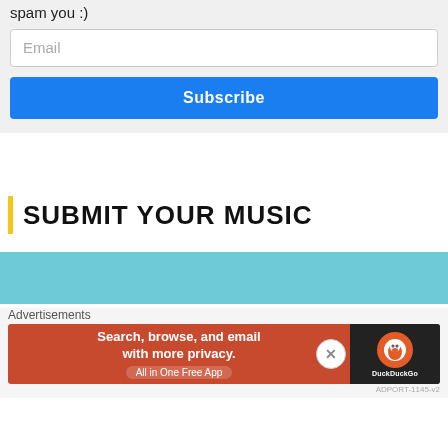spam you :)
[Figure (screenshot): Email input field with placeholder text 'Email']
[Figure (screenshot): Blue Subscribe button]
SUBMIT YOUR MUSIC
[Figure (screenshot): Teal/light blue banner area]
Advertisements
[Figure (screenshot): DuckDuckGo advertisement banner: Search, browse, and email with more privacy. All in One Free App]